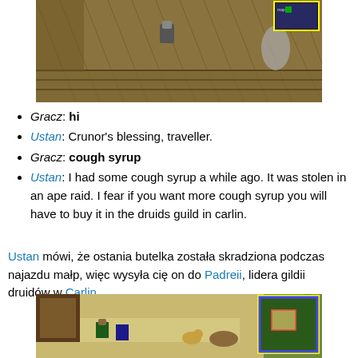[Figure (screenshot): Top-down RPG game screenshot showing a wooden interior/corridor with character sprites and a minimap in the upper right corner]
Gracz: hi
Ustan: Crunor's blessing, traveller.
Gracz: cough syrup
Ustan: I had some cough syrup a while ago. It was stolen in an ape raid. I fear if you want more cough syrup you will have to buy it in the druids guild in carlin.
Ustan mówi, że ostania butelka została skradziona podczas najazdu małp, więc wysyła cię on do Padreii, lidera gildii druidów w Carlin.
[Figure (screenshot): Top-down RPG game screenshot showing an outdoor town area with characters, buildings, a cat, a log, and a minimap in the lower right corner]